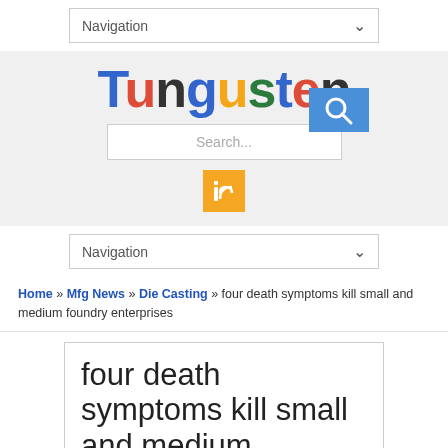Navigation
Tungusten
[Figure (screenshot): Search box with blue search button and yellow RSS feed button]
Navigation
Home » Mfg News » Die Casting » four death symptoms kill small and medium foundry enterprises
four death symptoms kill small and medium